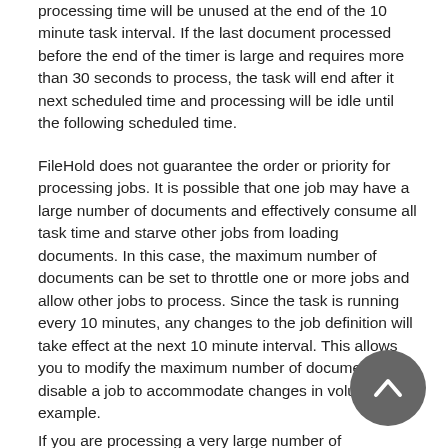processing time will be unused at the end of the 10 minute task interval. If the last document processed before the end of the timer is large and requires more than 30 seconds to process, the task will end after it next scheduled time and processing will be idle until the following scheduled time.
FileHold does not guarantee the order or priority for processing jobs. It is possible that one job may have a large number of documents and effectively consume all task time and starve other jobs from loading documents. In this case, the maximum number of documents can be set to throttle one or more jobs and allow other jobs to process. Since the task is running every 10 minutes, any changes to the job definition will take effect at the next 10 minute interval. This allows you to modify the maximum number of documents or disable a job to accommodate changes in volume, for example.
If you are processing a very large number of documents,